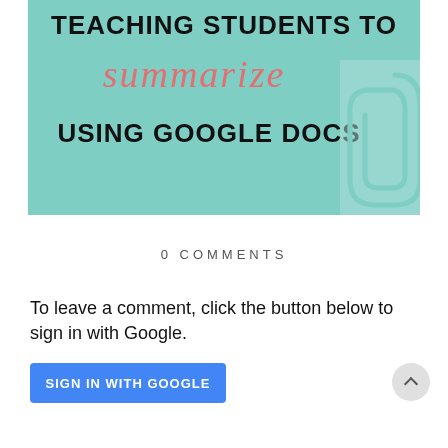[Figure (illustration): Promotional banner on teal/mint background with text 'TEACHING STUDENTS TO summarize USING GOOGLE DOCS' and a paperclip in the top-right corner]
0 COMMENTS
To leave a comment, click the button below to sign in with Google.
SIGN IN WITH GOOGLE